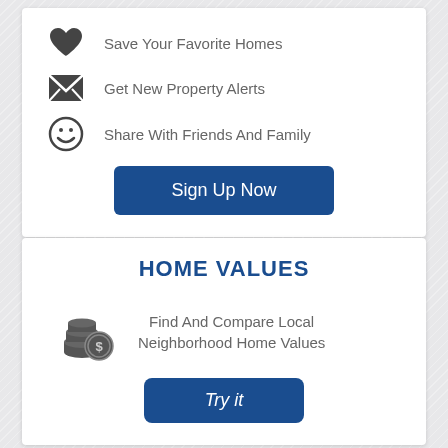Save Your Favorite Homes
Get New Property Alerts
Share With Friends And Family
Sign Up Now
HOME VALUES
Find And Compare Local Neighborhood Home Values
Try it